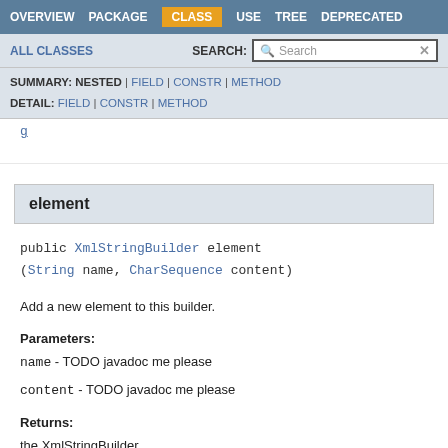OVERVIEW  PACKAGE  CLASS  USE  TREE  DEPRECATED
ALL CLASSES   SEARCH:
SUMMARY: NESTED | FIELD | CONSTR | METHOD
DETAIL: FIELD | CONSTR | METHOD
element
public XmlStringBuilder element
(String name, CharSequence content)
Add a new element to this builder.
Parameters:
name - TODO javadoc me please
content - TODO javadoc me please
Returns:
the XmlStringBuilder